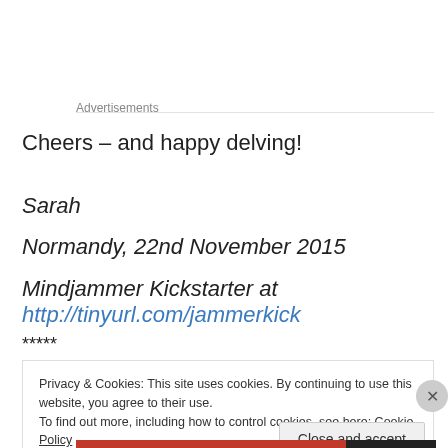Advertisements
Cheers – and happy delving!
Sarah
Normandy, 22nd November 2015
Mindjammer Kickstarter at http://tinyurl.com/jammerkick
*****
Privacy & Cookies: This site uses cookies. By continuing to use this website, you agree to their use.
To find out more, including how to control cookies, see here: Cookie Policy